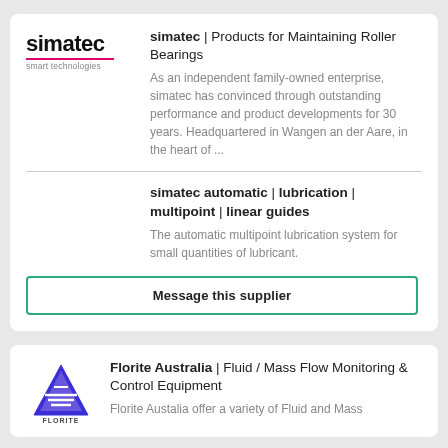[Figure (logo): simatec smart technologies logo with red underline]
simatec | Products for Maintaining Roller Bearings
As an independent family-owned enterprise, simatec has convinced through outstanding performance and product developments for 30 years. Headquartered in Wangen an der Aare, in the heart of ...
simatec automatic | lubrication | multipoint | linear guides
The automatic multipoint lubrication system for small quantities of lubricant.
Message this supplier
[Figure (logo): Florite Australia triangle logo in blue and purple]
Florite Australia | Fluid / Mass Flow Monitoring & Control Equipment
Florite Austalia offer a variety of Fluid and Mass